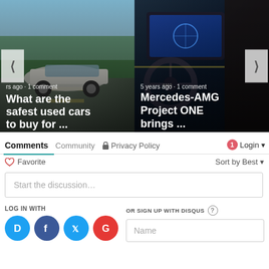[Figure (screenshot): Carousel card 1: car driving on road with overlay text 'What are the safest used cars to buy for ...' and meta 'rs ago · 1 comment']
[Figure (screenshot): Carousel card 2: Mercedes-AMG interior with overlay text 'Mercedes-AMG Project ONE brings ...' and meta '5 years ago · 1 comment']
Comments  Community  Privacy Policy  1  Login
Favorite  Sort by Best
Start the discussion…
LOG IN WITH
OR SIGN UP WITH DISQUS ?
Name